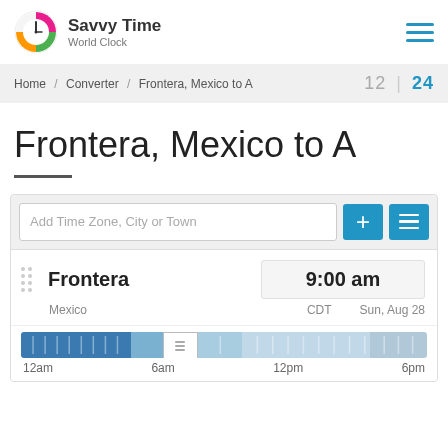Savvy Time World Clock
Home / Converter / Frontera, Mexico to A    12 | 24
Frontera, Mexico to A
Add Time Zone, City or Town
Frontera  9:00 am  Mexico  CDT  Sun, Aug 28
[Figure (infographic): Timeline slider bar showing time from 12am to 6pm with a handle at approximately 9am position. Dark blue for nighttime, light blue for daytime.]